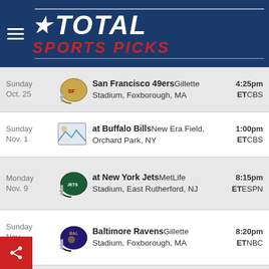[Figure (logo): Total Sports Picks logo with star, white italic TOTAL text and red italic SPORTS PICKS text on dark navy background]
| Date | Team/Game | Time/Network |
| --- | --- | --- |
| Sunday Oct. 25 | San Francisco 49ers Gillette Stadium, Foxborough, MA | 4:25pm ET CBS |
| Sunday Nov. 1 | at Buffalo Bills New Era Field, Orchard Park, NY | 1:00pm ET CBS |
| Monday Nov. 9 | at New York Jets MetLife Stadium, East Rutherford, NJ | 8:15pm ET ESPN |
| Sunday Nov. 15 | Baltimore Ravens Gillette Stadium, Foxborough, MA | 8:20pm ET NBC |